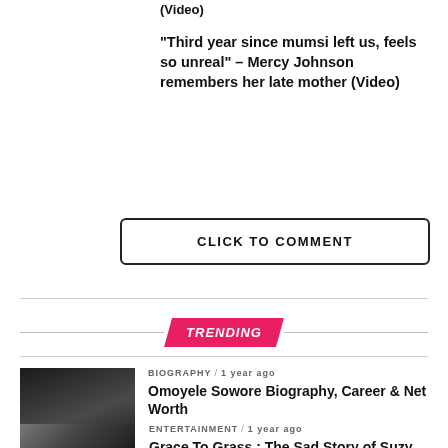(Video)
“Third year since mumsi left us, feels so unreal” – Mercy Johnson remembers her late mother (Video)
CLICK TO COMMENT
TRENDING
BIOGRAPHY / 1 year ago
Omoyele Sowore Biography, Career & Net Worth
ENTERTAINMENT / 1 year ago
Grace To Grass : The Sad Story of Suzy Perez (Photos)